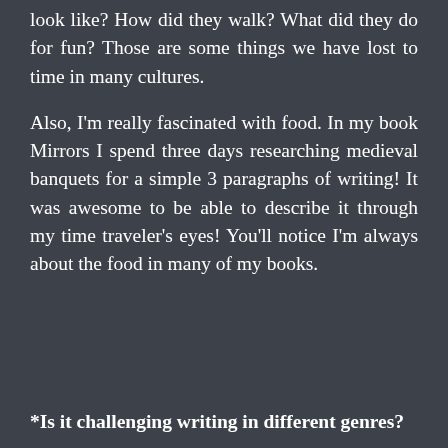look like? How did they walk? What did they do for fun? Those are some things we have lost to time in many cultures.
Also, I'm really fascinated with food. In my book Mirrors I spend three days researching medieval banquets for a simple 3 paragraphs of writing! It was awesome to be able to describe it through my time traveler's eyes! You'll notice I'm always about the food in many of my books.
*Is it challenging writing in different genres?
No, not at all. It's very refreshing. When I'm stuck writing romance, or I don't have any fresh ideas, I